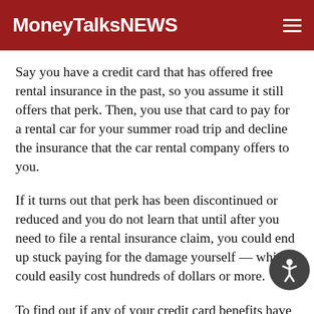MoneyTalksNews
Say you have a credit card that has offered free rental insurance in the past, so you assume it still offers that perk. Then, you use that card to pay for a rental car for your summer road trip and decline the insurance that the car rental company offers to you.
If it turns out that perk has been discontinued or reduced and you do not learn that until after you need to file a rental insurance claim, you could end up stuck paying for the damage yourself — which could easily cost hundreds of dollars or more.
To find out if any of your credit card benefits have changed, access your account online or ask customer service. There should be a phone number on the back